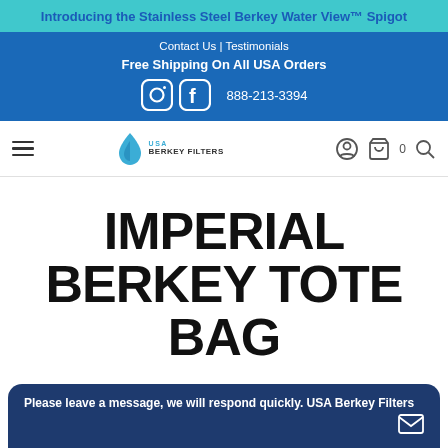Introducing the Stainless Steel Berkey Water View™ Spigot
Contact Us | Testimonials
Free Shipping On All USA Orders
888-213-3394
[Figure (logo): USA Berkey Filters logo with water drop icon]
IMPERIAL BERKEY TOTE BAG
Please leave a message, we will respond quickly. USA Berkey Filters